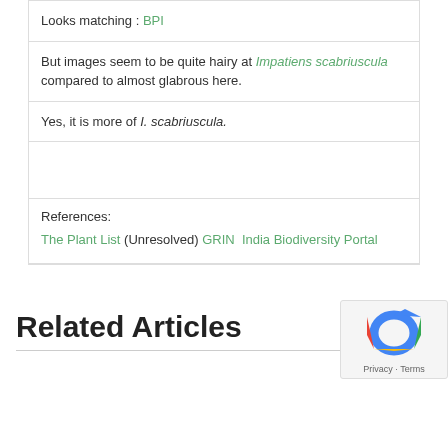Looks matching : BPI
But images seem to be quite hairy at Impatiens scabriuscula compared to almost glabrous here.
Yes, it is more of I. scabriuscula.
References:
The Plant List (Unresolved) GRIN  India Biodiversity Portal
Related Articles